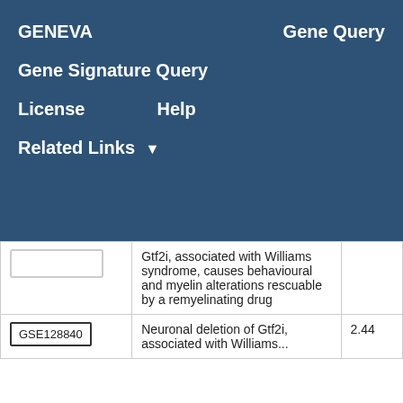GENEVA   Gene Query   Gene Signature Query   License   Help   Related Links
| ID | Description | Score |
| --- | --- | --- |
|  | Gtf2i, associated with Williams syndrome, causes behavioural and myelin alterations rescuable by a remyelinating drug |  |
| GSE128840 | Neuronal deletion of Gtf2i, associated with Williams... | 2.44 |